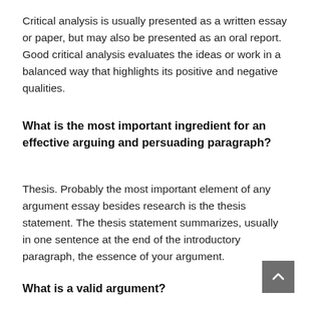Critical analysis is usually presented as a written essay or paper, but may also be presented as an oral report. Good critical analysis evaluates the ideas or work in a balanced way that highlights its positive and negative qualities.
What is the most important ingredient for an effective arguing and persuading paragraph?
Thesis. Probably the most important element of any argument essay besides research is the thesis statement. The thesis statement summarizes, usually in one sentence at the end of the introductory paragraph, the essence of your argument.
What is a valid argument?